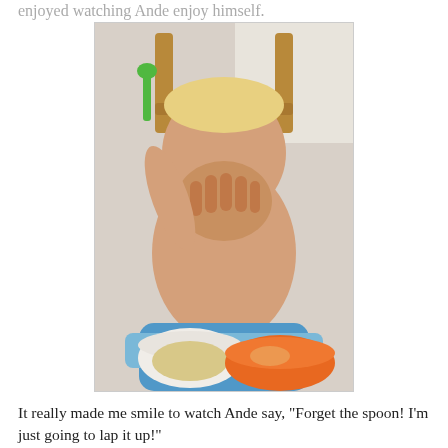enjoyed watching Ande enjoy himself.
[Figure (photo): Baby/toddler sitting in a blue highchair, shirtless, laughing and covering mouth with hand, holding a green spoon, with a white bowl and orange plate on the tray]
It really made me smile to watch Ande say, "Forget the spoon! I'm just going to lap it up!"
[Figure (photo): Partial view of a child leaning over a bowl on a wooden chair tray, partially cropped at the bottom of the page]